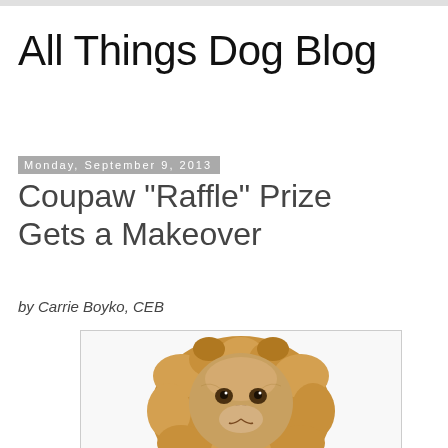All Things Dog Blog
Monday, September 9, 2013
Coupaw "Raffle" Prize Gets a Makeover
by Carrie Boyko, CEB
[Figure (photo): A dog wearing a lion mane costume/hat, showing its face surrounded by fluffy golden-brown mane fur with small rounded ears on top.]